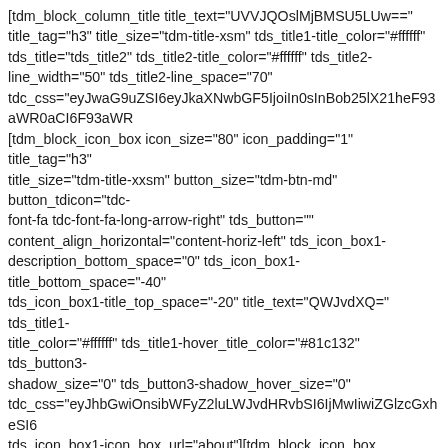[tdm_block_column_title title_text="UVVJQOslMjBMSU5LUw==" title_tag="h3" title_size="tdm-title-xsm" tds_title1-title_color="#ffffff" tds_title="tds_title2" tds_title2-title_color="#ffffff" tds_title2-line_width="50" tds_title2-line_space="70" tdc_css="eyJwaG9uZSI6eyJkaXNwbGF5IjoiIn0sInBob25lX21heF93aWR0aCI6F93aWR [tdm_block_icon_box icon_size="80" icon_padding="1" title_tag="h3" title_size="tdm-title-xxsm" button_size="tdm-btn-md" button_tdicon="tdc-font-fa tdc-font-fa-long-arrow-right" tds_button="" content_align_horizontal="content-horiz-left" tds_icon_box1-description_bottom_space="0" tds_icon_box1-title_bottom_space="-40" tds_icon_box1-title_top_space="-20" title_text="QWJvdXQ=" tds_title1-title_color="#ffffff" tds_title1-hover_title_color="#81c132" tds_button3-shadow_size="0" tds_button3-shadow_hover_size="0" tdc_css="eyJhbGwiOnsibWFyZ2luLWJvdHRvbSI6IjMwIiwiZGlzcGxheSI6 tds_icon_box1-icon_box_url="about"][tdm_block_icon_box icon_size="80" icon_padding="1" title_tag="h3" title_size="tdm-title-xxsm" button_size="tdm-btn-md" button_tdicon="tdc-font-fa tdc-font-fa-long-arrow-right" tds_button="" content_align_horizontal="content-horiz-left" tds_icon_box1-description_bottom_space="0" tds_icon_box1-title_bottom_space="-40" tds_icon_box1-title_top_space="-20" title_text="Q2FtcGFpZ25z" tds_title1-title_color="#ffffff" tds_title1-